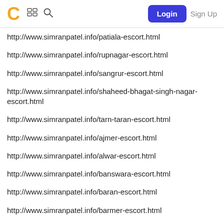C [grid icon] [search icon] Login Sign Up
http://www.simranpatel.info/patiala-escort.html
http://www.simranpatel.info/rupnagar-escort.html
http://www.simranpatel.info/sangrur-escort.html
http://www.simranpatel.info/shaheed-bhagat-singh-nagar-escort.html
http://www.simranpatel.info/tarn-taran-escort.html
http://www.simranpatel.info/ajmer-escort.html
http://www.simranpatel.info/alwar-escort.html
http://www.simranpatel.info/banswara-escort.html
http://www.simranpatel.info/baran-escort.html
http://www.simranpatel.info/barmer-escort.html
http://www.simranpatel.info/bharatpur-escort.html
http://www.simranpatel.info/bhilwara-escort.html